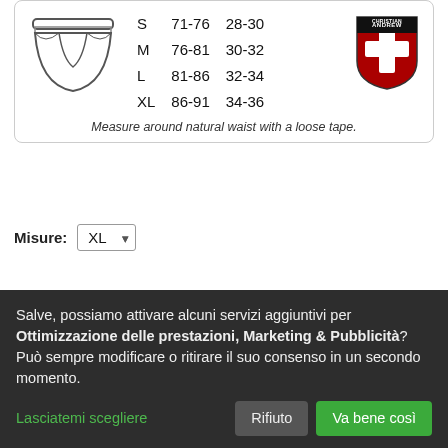[Figure (table-as-image): Size chart for underwear with sketch of briefs, sizes S/M/L/XL with waist measurements in cm and inches, Andrew Christian logo/shield]
Measure around natural waist with a loose tape.
Misure: XL ▾
29.90 EUR  19.90 EUR
incl. IVA + spese di spedizione
Quantità: 1
Salve, possiamo attivare alcuni servizi aggiuntivi per Ottimizzazione delle prestazioni, Marketing & Pubblicità? Può sempre modificare o ritirare il suo consenso in un secondo momento.
Lasciatemi scegliere
Rifiuto
Va bene così